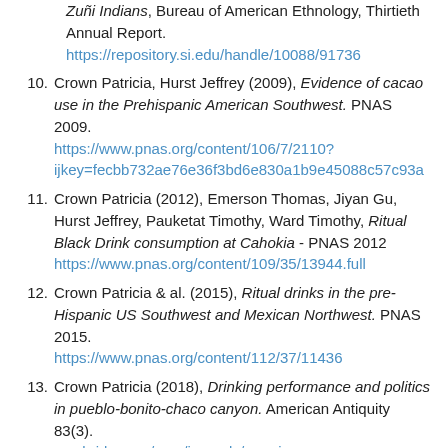(continuation) Zuñi Indians, Bureau of American Ethnology, Thirtieth Annual Report. https://repository.si.edu/handle/10088/91736
10. Crown Patricia, Hurst Jeffrey (2009), Evidence of cacao use in the Prehispanic American Southwest. PNAS 2009. https://www.pnas.org/content/106/7/2110?ijkey=fecbb732ae76e36f3bd6e830a1b9e45088c57c93a
11. Crown Patricia (2012), Emerson Thomas, Jiyan Gu, Hurst Jeffrey, Pauketat Timothy, Ward Timothy, Ritual Black Drink consumption at Cahokia - PNAS 2012 https://www.pnas.org/content/109/35/13944.full
12. Crown Patricia & al. (2015), Ritual drinks in the pre-Hispanic US Southwest and Mexican Northwest. PNAS 2015. https://www.pnas.org/content/112/37/11436
13. Crown Patricia (2018), Drinking performance and politics in pueblo-bonito-chaco canyon. American Antiquity 83(3). cambridge.org/core/journals/american-